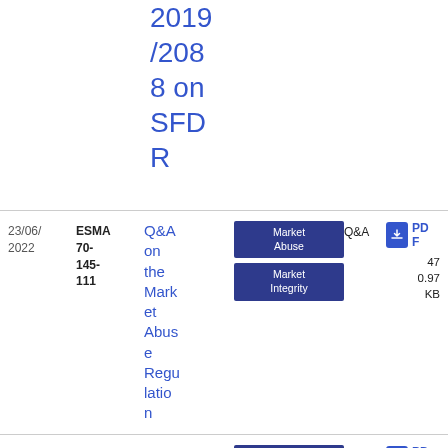2019/2088 on SFDR
| Date | Reference | Title | Tags | Type | File |
| --- | --- | --- | --- | --- | --- |
| 23/06/2022 | ESMA 70-145-111 | Q&A on the Market Abuse Regulation | Market Abuse | Market Integrity | Q&A | PDF 47 0.97 KB |
| 19/07/2022 | ESMA 74-362-893 | QAs on SFTR data repo... | Post Trading | Securities Financing Transactions | Q&A | PDF 40 5.28 KB |